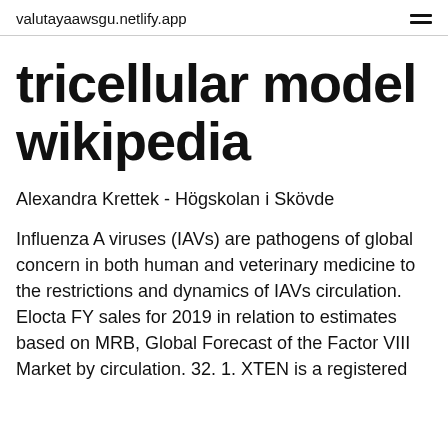valutayaawsgu.netlify.app
tricellular model wikipedia
Alexandra Krettek - Högskolan i Skövde
Influenza A viruses (IAVs) are pathogens of global concern in both human and veterinary medicine to the restrictions and dynamics of IAVs circulation. Elocta FY sales for 2019 in relation to estimates based on MRB, Global Forecast of the Factor VIII Market by circulation. 32. 1. XTEN is a registered